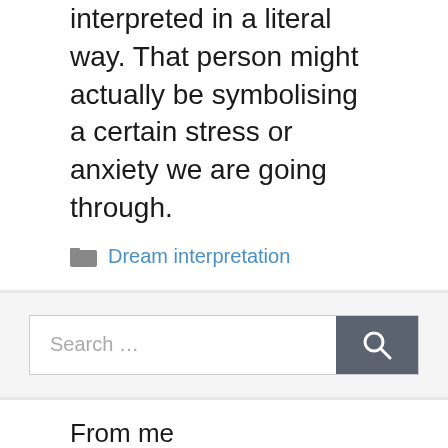interpreted in a literal way. That person might actually be symbolising a certain stress or anxiety we are going through.
Dream interpretation
[Figure (other): Search bar with text input area showing placeholder 'Search ...' and a dark grey search button with magnifying glass icon]
From me
[Figure (photo): Portrait photo of a woman with long dark brown hair, looking at the camera, against a light blue background]